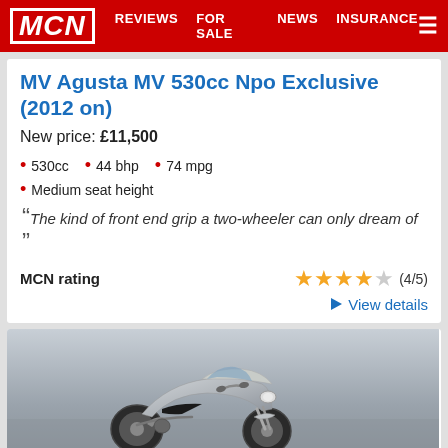MCN | REVIEWS | FOR SALE | NEWS | INSURANCE
MV Agusta MV 530cc Npo Exclusive (2012 on)
New price: £11,500
530cc
44 bhp
74 mpg
Medium seat height
"The kind of front end grip a two-wheeler can only dream of"
MCN rating (4/5)
View details
[Figure (photo): A silver sport motorcycle photographed against a grey sky background, front three-quarter view]